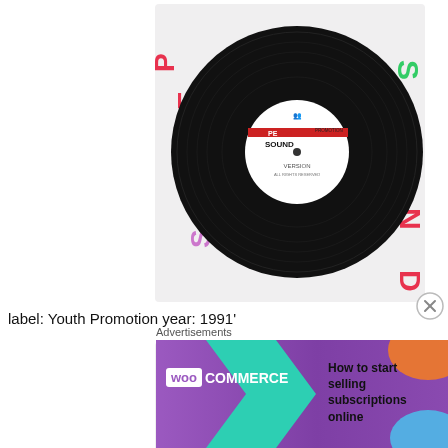[Figure (photo): A vinyl record (7-inch single) with 'Pecos Sound' label, white sleeve with colorful hand-written letters spelling 'PECOS' on left and 'SOUND' on right. Label reads 'Youth Promotion'. Shows 'VERSION' on the record.]
label: Youth Promotion year: 1991'
[Figure (photo): A vinyl record (7-inch single) with a Youth Promotion label, white sleeve with colorful hand-written letters spelling 'JARVIS' on left and 'DISCO' on right. Record has handwritten 'JAR VIS DI SC' on the label. Shows 'Loving Daddy' song.]
Advertisements
[Figure (screenshot): WooCommerce advertisement banner with purple background, teal arrow, orange splash, and text 'How to start selling subscriptions online']